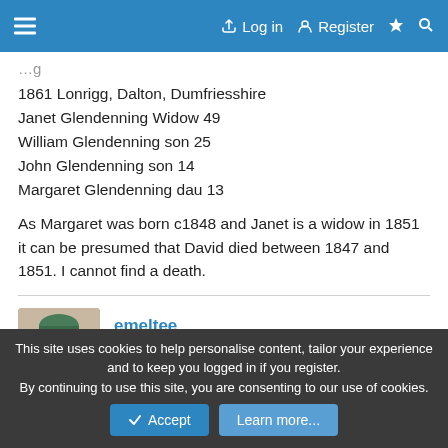Log in  Register
1861 Lonrigg, Dalton, Dumfriesshire
Janet Glendenning Widow 49
William Glendenning son 25
John Glendenning son 14
Margaret Glendenning dau 13
As Margaret was born c1848 and Janet is a widow in 1851 it can be presumed that David died between 1847 and 1851. I cannot find a death.
emeltee
Loyal Member
This site uses cookies to help personalise content, tailor your experience and to keep you logged in if you register.
By continuing to use this site, you are consenting to our use of cookies.